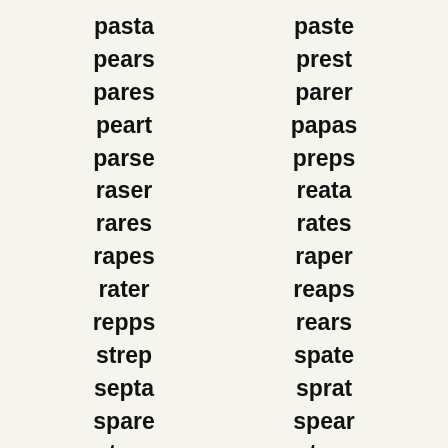pasta
pears
pares
peart
parse
raser
rares
rapes
rater
repps
strep
septa
spare
strap
paste
prest
parer
papas
preps
reata
rates
raper
reaps
rears
spate
sprat
spear
stare